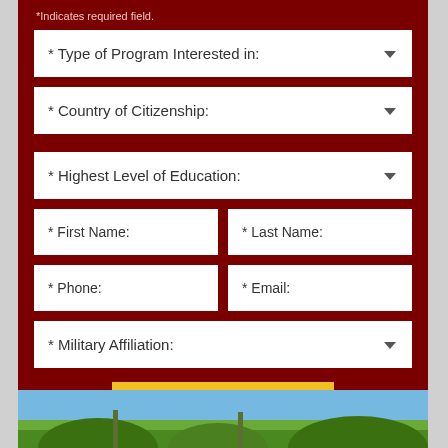*Indicates required field.
* Type of Program Interested in:
* Country of Citizenship:
* Highest Level of Education:
* First Name:
* Last Name:
* Phone:
* Email:
* Military Affiliation:
Get More Info
[Figure (photo): Palm trees and blue sky at bottom of page]